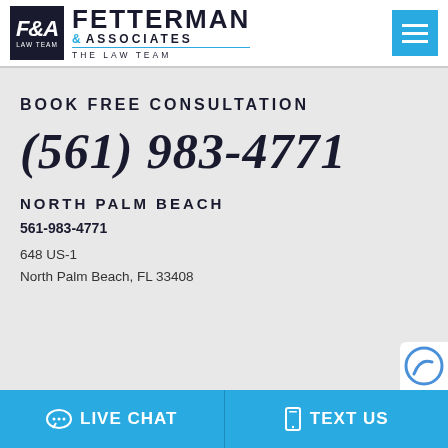[Figure (logo): Fetterman & Associates Law Team logo with black box containing F&A initials and company name]
BOOK FREE CONSULTATION
(561) 983-4771
NORTH PALM BEACH
561-983-4771
648 US-1
North Palm Beach, FL 33408